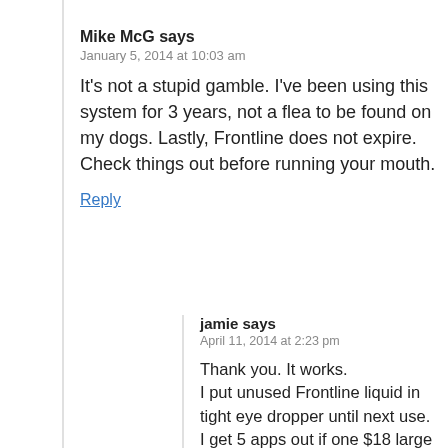Mike McG says
January 5, 2014 at 10:03 am
It's not a stupid gamble. I've been using this system for 3 years, not a flea to be found on my dogs. Lastly, Frontline does not expire. Check things out before running your mouth.
Reply
jamie says
April 11, 2014 at 2:23 pm
Thank you. It works.
I put unused Frontline liquid in tight eye dropper until next use.
I get 5 apps out if one $18 large ville for my 13lb chihuahuas.